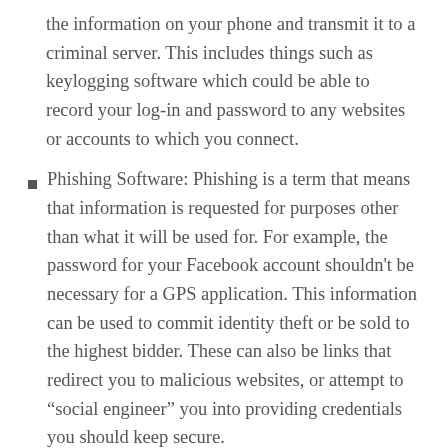the information on your phone and transmit it to a criminal server. This includes things such as keylogging software which could be able to record your log-in and password to any websites or accounts to which you connect.
Phishing Software: Phishing is a term that means that information is requested for purposes other than what it will be used for. For example, the password for your Facebook account shouldn't be necessary for a GPS application. This information can be used to commit identity theft or be sold to the highest bidder. These can also be links that redirect you to malicious websites, or attempt to “social engineer” you into providing credentials you should keep secure.
Virus: The term virus is a wide ranging term, but can include such threats as a takeover of your phones operating system or interact with your contacts without your knowledge.